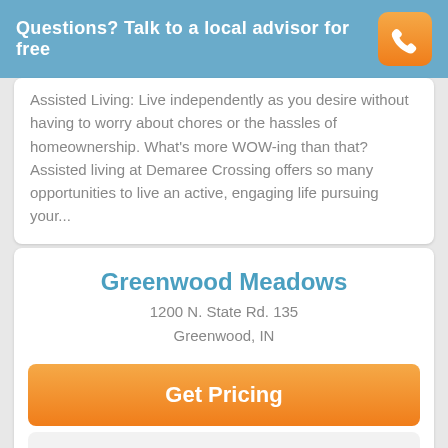Questions? Talk to a local advisor for free
Assisted Living: Live independently as you desire without having to worry about chores or the hassles of homeownership. What's more WOW-ing than that? Assisted living at Demaree Crossing offers so many opportunities to live an active, engaging life pursuing your...
Greenwood Meadows
1200 N. State Rd. 135
Greenwood, IN
Get Pricing
Learn More
Call 1-800-991-9257 for details
2 Reviews
Caring people make the difference at Greenwood Meadows,